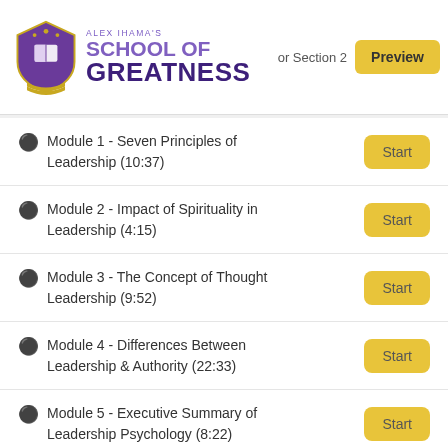[Figure (logo): Alex Ihama's School of Greatness logo with shield emblem and purple text]
or Section 2
Preview
Module 1 - Seven Principles of Leadership (10:37)
Module 2 - Impact of Spirituality in Leadership (4:15)
Module 3 - The Concept of Thought Leadership (9:52)
Module 4 - Differences Between Leadership & Authority (22:33)
Module 5 - Executive Summary of Leadership Psychology (8:22)